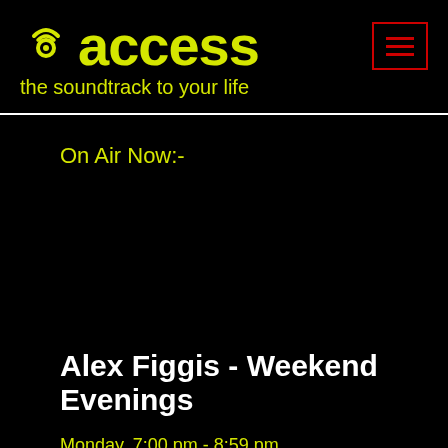[Figure (logo): Access Radio logo with signal icon and text 'access the soundtrack to your life' in yellow on black background, with red menu button]
On Air Now:-
Alex Figgis - Weekend Evenings
Monday, 7:00 pm - 8:59 pm